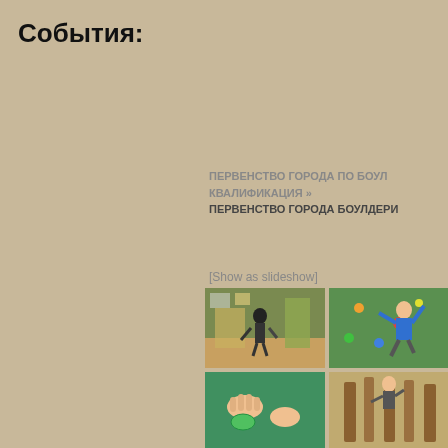События:
[Figure (photo): White/light colored box placeholder at top right]
ПЕРВЕНСТВО ГОРОДА ПО БОУЛ... КВАЛИФИКАЦИЯ » ПЕРВЕНСТВО ГОРОДА БОУЛДЕРИ...
[Show as slideshow]
[Figure (photo): Indoor climbing gym photo - person climbing bouldering wall]
[Figure (photo): Indoor climbing wall photo - person in blue shirt climbing green wall]
[Figure (photo): Climbing hands/holds close-up photo]
[Figure (photo): Climbing wall with wooden holds photo]